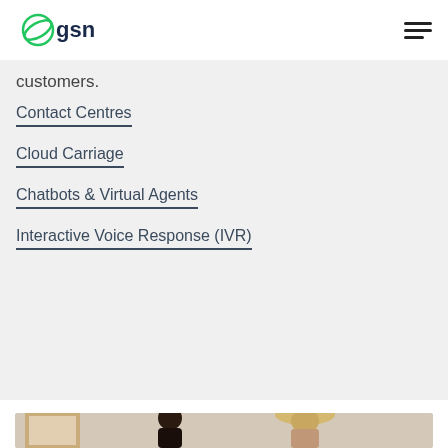GSN logo and navigation menu
customers.
Contact Centres
Cloud Carriage
Chatbots & Virtual Agents
Interactive Voice Response (IVR)
[Figure (photo): Photo of two people, one with dark hair in a bun and one wearing a hat, with framed artwork visible in the background]